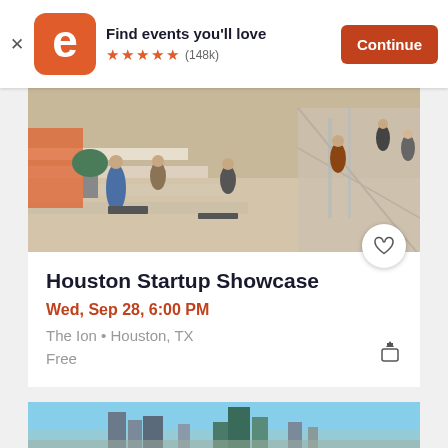[Figure (screenshot): Eventbrite app banner with orange logo showing stylized 'e', star rating, and Continue button]
Find events you'll love
★★★★★ (148k)
[Figure (photo): Indoor event venue with people sitting on bleacher-style steps, modern interior]
Houston Startup Showcase
Wed, Sep 28, 6:00 PM
The Ion • Houston, TX
Free
[Figure (photo): Houston city skyline with buildings against a clear blue sky]